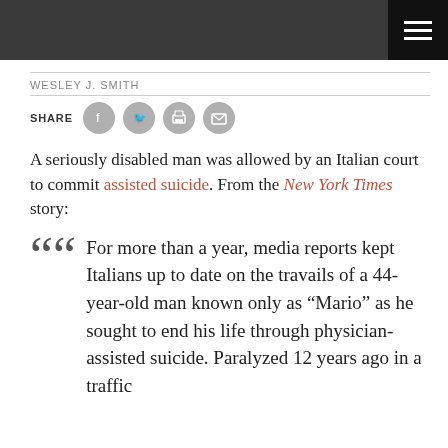[Figure (other): Dark gray header bar with hamburger menu icon in top right corner]
WESLEY J. SMITH
SHARE
A seriously disabled man was allowed by an Italian court to commit assisted suicide. From the New York Times story:
For more than a year, media reports kept Italians up to date on the travails of a 44-year-old man known only as “Mario” as he sought to end his life through physician-assisted suicide. Paralyzed 12 years ago in a traffic